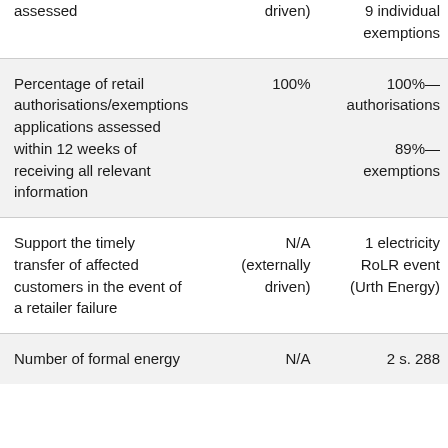| assessed | driven) | 9 individual exemptions |
| Percentage of retail authorisations/exemptions applications assessed within 12 weeks of receiving all relevant information | 100% | 100%— authorisations
89%— exemptions |
| Support the timely transfer of affected customers in the event of a retailer failure | N/A (externally driven) | 1 electricity RoLR event (Urth Energy) |
| Number of formal energy | N/A | 2 s. 288 |